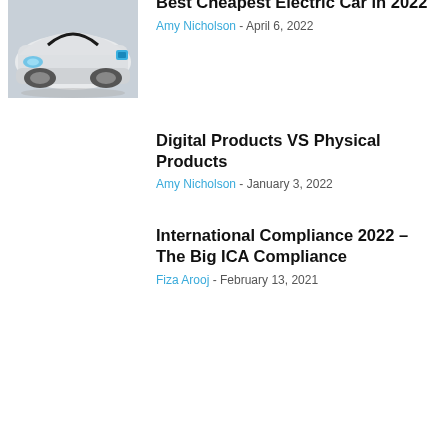[Figure (photo): White BMW electric car charging, close-up of front with blue charging port visible]
Best Cheapest Electric Car in 2022
Amy Nicholson - April 6, 2022
Digital Products VS Physical Products
Amy Nicholson - January 3, 2022
International Compliance 2022 – The Big ICA Compliance
Fiza Arooj - February 13, 2021